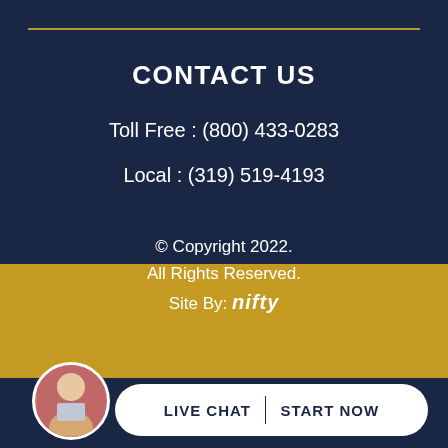CONTACT US
Toll Free : (800) 433-0283
Local : (319) 519-4193
[Figure (infographic): Social media icons: Facebook, Twitter, YouTube]
© Copyright 2022. All Rights Reserved. Site By: nifty
[Figure (photo): Circular avatar photo of a man in a suit]
LIVE CHAT › START NOW